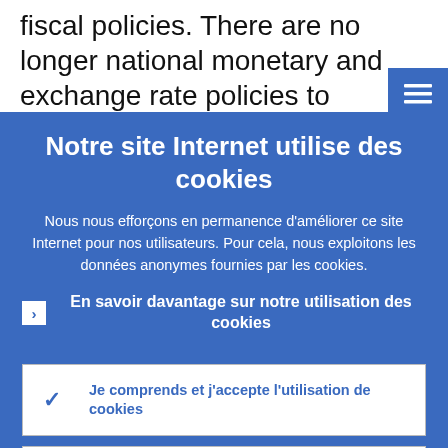fiscal policies. There are no longer national monetary and exchange rate policies to
Notre site Internet utilise des cookies
Nous nous efforçons en permanence d'améliorer ce site Internet pour nos utilisateurs. Pour cela, nous exploitons les données anonymes fournies par les cookies.
En savoir davantage sur notre utilisation des cookies
Je comprends et j'accepte l'utilisation de cookies
Je n'accepte pas l'utilisation de cookies